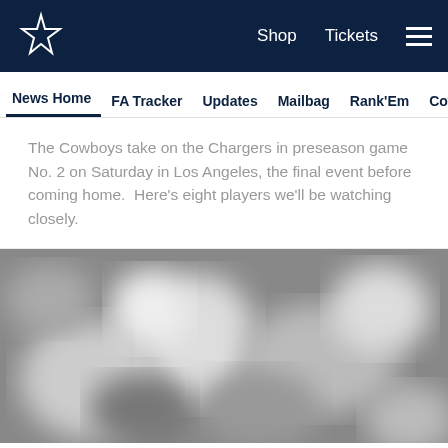Dallas Cowboys — Shop | Tickets | Navigation
News Home  FA Tracker  Updates  Mailbag  Rank'Em  Cowbuz
The Cowboys take on the Chargers in preseason game No. 2 on Saturday in Los Angeles, the final event before coming home. Here's eight players we'll be watching closely.
[Figure (photo): Blurred grayscale photo of football players on field]
[Figure (infographic): Social share icons: Facebook, Twitter, Email, Link]